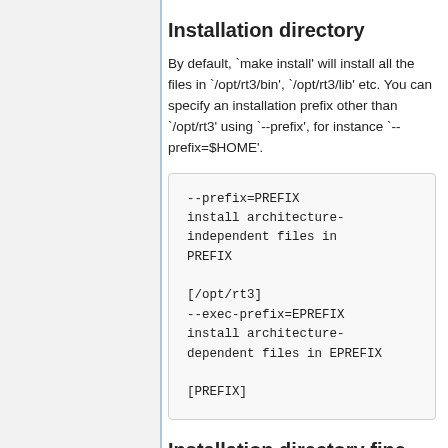Installation directory
By default, `make install' will install all the files in `/opt/rt3/bin', `/opt/rt3/lib' etc. You can specify an installation prefix other than `/opt/rt3' using `--prefix', for instance `--prefix=$HOME'.
--prefix=PREFIX
install architecture-independent files in PREFIX

[/opt/rt3]
--exec-prefix=EPREFIX
install architecture-dependent files in EPREFIX

[PREFIX]
Installation directory fine-